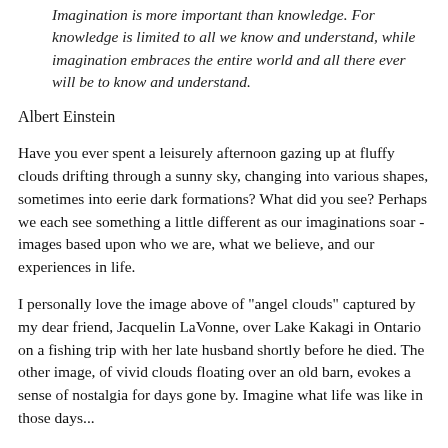Imagination is more important than knowledge. For knowledge is limited to all we know and understand, while imagination embraces the entire world and all there ever will be to know and understand.
Albert Einstein
Have you ever spent a leisurely afternoon gazing up at fluffy clouds drifting through a sunny sky, changing into various shapes, sometimes into eerie dark formations? What did you see? Perhaps we each see something a little different as our imaginations soar - images based upon who we are, what we believe, and our experiences in life.
I personally love the image above of "angel clouds" captured by my dear friend, Jacquelin LaVonne, over Lake Kakagi in Ontario on a fishing trip with her late husband shortly before he died. The other image, of vivid clouds floating over an old barn, evokes a sense of nostalgia for days gone by. Imagine what life was like in those days...
Children frequently have the gift of imagination, something